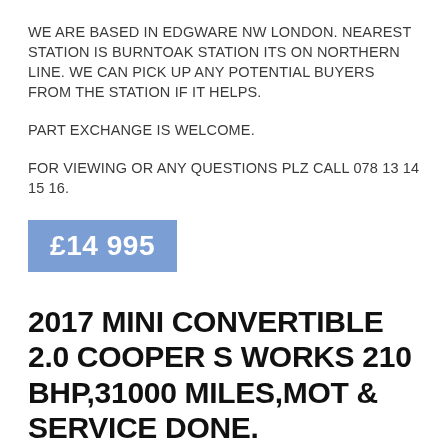WE ARE BASED IN EDGWARE NW LONDON. NEAREST STATION IS BURNTOAK STATION ITS ON NORTHERN LINE. WE CAN PICK UP ANY POTENTIAL BUYERS FROM THE STATION IF IT HELPS.
PART EXCHANGE IS WELCOME.
FOR VIEWING OR ANY QUESTIONS PLZ CALL 078 13 14 15 16.
£14 995
2017 MINI CONVERTIBLE 2.0 COOPER S WORKS 210 BHP,31000 MILES,MOT & SERVICE DONE.